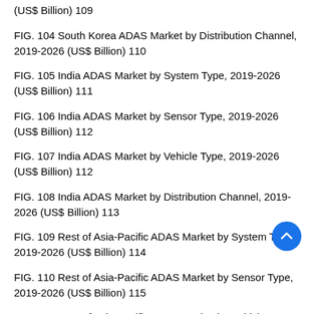(US$ Billion) 109
FIG. 104 South Korea ADAS Market by Distribution Channel, 2019-2026 (US$ Billion) 110
FIG. 105 India ADAS Market by System Type, 2019-2026 (US$ Billion) 111
FIG. 106 India ADAS Market by Sensor Type, 2019-2026 (US$ Billion) 112
FIG. 107 India ADAS Market by Vehicle Type, 2019-2026 (US$ Billion) 112
FIG. 108 India ADAS Market by Distribution Channel, 2019-2026 (US$ Billion) 113
FIG. 109 Rest of Asia-Pacific ADAS Market by System Type, 2019-2026 (US$ Billion) 114
FIG. 110 Rest of Asia-Pacific ADAS Market by Sensor Type, 2019-2026 (US$ Billion) 115
FIG. 111 Rest of Asia-Pacific ADAS Market by Vehicle T...